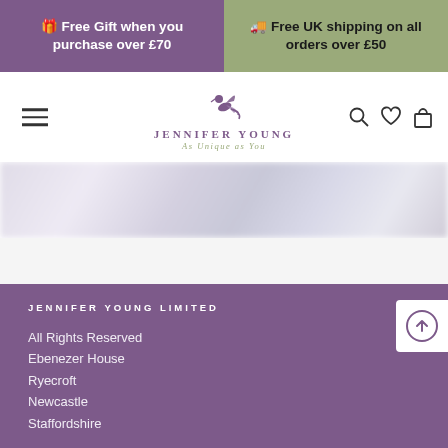🎁 Free Gift when you purchase over £70
🚚 Free UK shipping on all orders over £50
[Figure (logo): Jennifer Young logo with hummingbird, brand name 'JENNIFER YOUNG' and tagline 'As Unique as You']
[Figure (photo): Blurred partial product or lifestyle image]
JENNIFER YOUNG LIMITED
All Rights Reserved
Ebenezer House
Ryecroft
Newcastle
Staffordshire